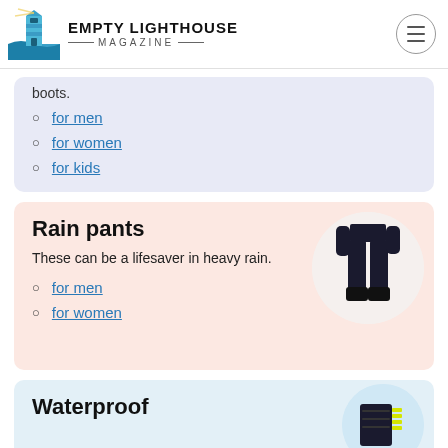EMPTY LIGHTHOUSE MAGAZINE
for men
for women
for kids
Rain pants
These can be a lifesaver in heavy rain.
for men
for women
[Figure (photo): Person wearing black rain pants, shown from waist down against white circular background]
Waterproof
[Figure (photo): Waterproof gear/bag with yellow strap against light blue circular background]